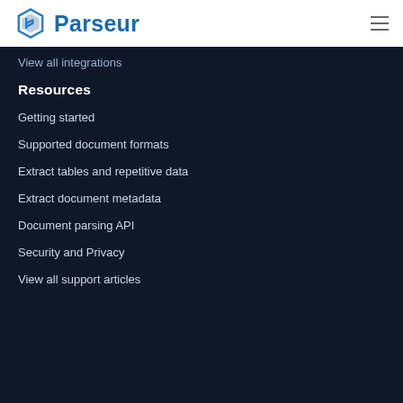Parseur
View all integrations
Resources
Getting started
Supported document formats
Extract tables and repetitive data
Extract document metadata
Document parsing API
Security and Privacy
View all support articles